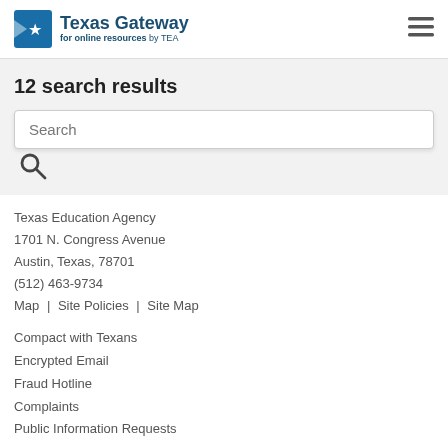Texas Gateway for online resources by TEA
12 search results
[Figure (screenshot): Search input box with placeholder text 'Search' and a magnifying glass icon below]
Texas Education Agency
1701 N. Congress Avenue
Austin, Texas, 78701
(512) 463-9734
Map | Site Policies | Site Map
Compact with Texans
Encrypted Email
Fraud Hotline
Complaints
Public Information Requests
Frequently Asked Questions
ESCs